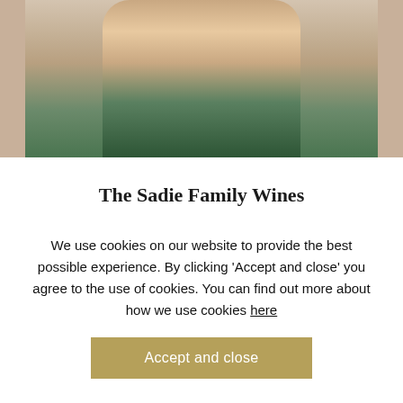[Figure (photo): A man sitting with arms crossed on wine barrels, wearing a plaid shirt and green trousers, with a watch visible.]
The Sadie Family Wines
Eben Sadie started his winemaking career working for Charles Back's Spice Route-labelled wines before breaking out on his own in 1999. Since the first release of Columella
We use cookies on our website to provide the best possible experience. By clicking 'Accept and close' you agree to the use of cookies. You can find out more about how we use cookies here